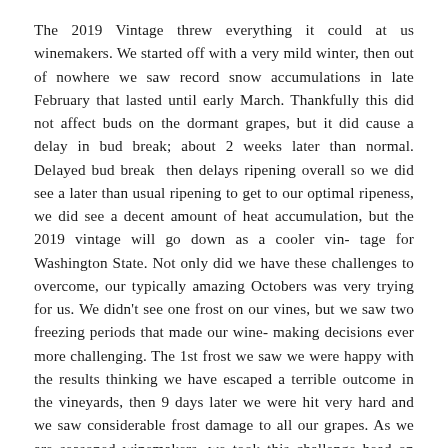The 2019 Vintage threw everything it could at us winemakers. We started off with a very mild winter, then out of nowhere we saw record snow accumulations in late February that lasted until early March. Thankfully this did not affect buds on the dormant grapes, but it did cause a delay in bud break; about 2 weeks later than normal. Delayed bud break then delays ripening overall so we did see a later than usual ripening to get to our optimal ripeness, we did see a decent amount of heat accumulation, but the 2019 vintage will go down as a cooler vin- tage for Washington State. Not only did we have these challenges to overcome, our typically amazing Octobers was very trying for us. We didn't see one frost on our vines, but we saw two freezing periods that made our wine- making decisions ever more challenging. The 1st frost we saw we were happy with the results thinking we have escaped a terrible outcome in the vineyards, then 9 days later we were hit very hard and we saw considerable frost damage to all our grapes. As we are seasoned winemakers, we took this challenge head on and decides to purchase brand new state of the art equipment including an optical sorter that would eject bad and damaged